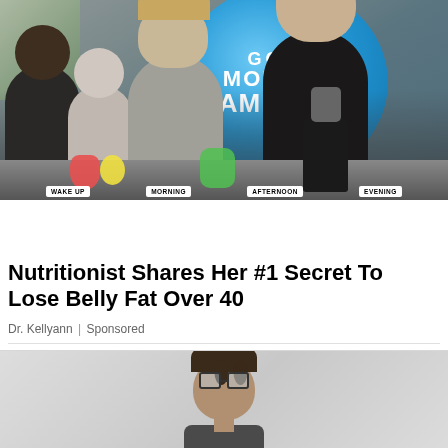[Figure (photo): Photo of a TV cooking/health segment on Good Morning America. Several women stand around a table with food items, blenders, fruits and vegetables. The blue Good Morning America logo is visible in the background. Labels on the table read WAKE UP, MORNING, AFTERNOON, EVENING.]
Nutritionist Shares Her #1 Secret To Lose Belly Fat Over 40
Dr. Kellyann | Sponsored
[Figure (photo): Partial photo of a person with glasses and dark hair, only the head and shoulders visible, cropped at the bottom of the page.]